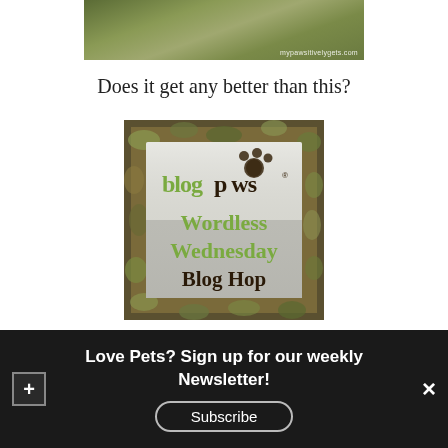[Figure (photo): Top portion of an outdoor photo showing grass/ground with watermark 'mypawsitivelygets.com']
Does it get any better than this?
[Figure (logo): BlogPaws Wordless Wednesday Blog Hop badge with decorative camouflage border, green text on grey gradient background]
Thanks to BlogPaws for hosting the Wordless Wednesday Blog
Love Pets? Sign up for our weekly Newsletter!
Subscribe